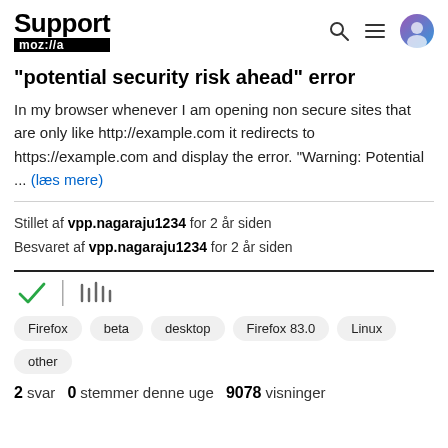Support mozilla
"potential security risk ahead" error
In my browser whenever I am opening non secure sites that are only like http://example.com it redirects to https://example.com and display the error. "Warning: Potential ... (læs mere)
Stillet af vpp.nagaraju1234 for 2 år siden
Besvaret af vpp.nagaraju1234 for 2 år siden
[Figure (other): Checkmark and library icons row]
Firefox  beta  desktop  Firefox 83.0  Linux  other
2 svar  0 stemmer denne uge  9078 visninger